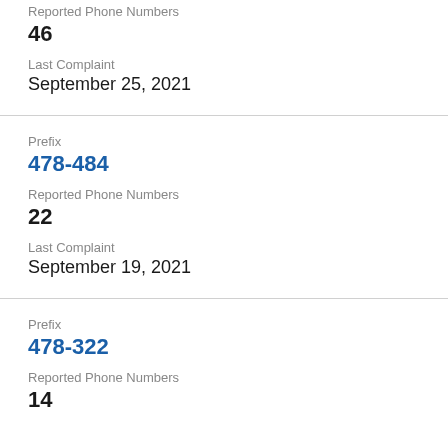Reported Phone Numbers
46
Last Complaint
September 25, 2021
Prefix
478-484
Reported Phone Numbers
22
Last Complaint
September 19, 2021
Prefix
478-322
Reported Phone Numbers
14